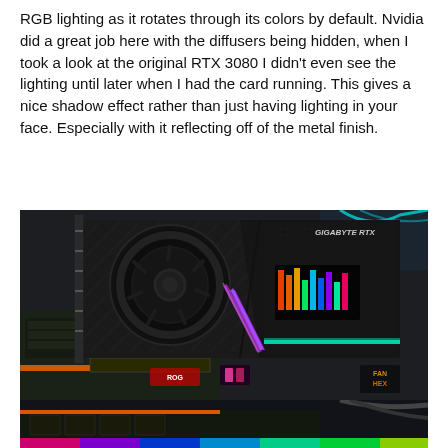RGB lighting as it rotates through its colors by default. Nvidia did a great job here with the diffusers being hidden, when I took a look at the original RTX 3080 I didn't even see the lighting until later when I had the card running. This gives a nice shadow effect rather than just having lighting in your face. Especially with it reflecting off of the metal finish.
[Figure (photo): Close-up photo of a Gigabyte RTX GPU installed in a PC case on an ASUS ROG motherboard. The GPU features RGB lighting with purple and teal/green colors glowing along the edges of the shroud. The card has a black metal mesh design with a large circular fan visible. RGB lighting is also visible from other components in the background.]